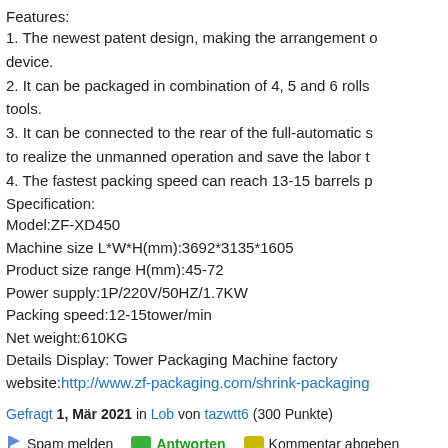Features:
1. The newest patent design, making the arrangement of device.
2. It can be packaged in combination of 4, 5 and 6 rolls tools.
3. It can be connected to the rear of the full-automatic s to realize the unmanned operation and save the labor t
4. The fastest packing speed can reach 13-15 barrels p
Specification:
Model:ZF-XD450
Machine size L*W*H(mm):3692*3135*1605
Product size range H(mm):45-72
Power supply:1P/220V/50HZ/1.7KW
Packing speed:12-15tower/min
Net weight:610KG
Details Display: Tower Packaging Machine factory website:http://www.zf-packaging.com/shrink-packaging
Gefragt 1, Mär 2021 in Lob von tazwtt6 (300 Punkte)
Spam melden   Antworten   Kommentar abgeben